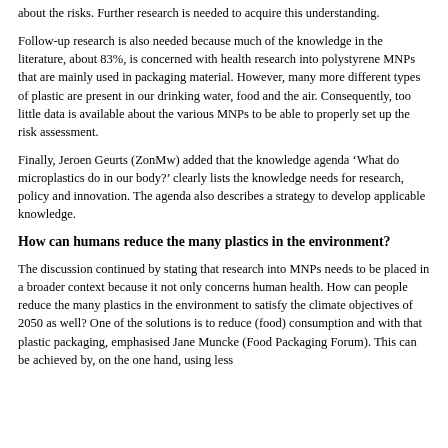about the risks. Further research is needed to acquire this understanding.
Follow-up research is also needed because much of the knowledge in the literature, about 83%, is concerned with health research into polystyrene MNPs that are mainly used in packaging material. However, many more different types of plastic are present in our drinking water, food and the air. Consequently, too little data is available about the various MNPs to be able to properly set up the risk assessment.
Finally, Jeroen Geurts (ZonMw) added that the knowledge agenda ‘What do microplastics do in our body?’ clearly lists the knowledge needs for research, policy and innovation. The agenda also describes a strategy to develop applicable knowledge.
How can humans reduce the many plastics in the environment?
The discussion continued by stating that research into MNPs needs to be placed in a broader context because it not only concerns human health. How can people reduce the many plastics in the environment to satisfy the climate objectives of 2050 as well? One of the solutions is to reduce (food) consumption and with that plastic packaging, emphasised Jane Muncke (Food Packaging Forum). This can be achieved by, on the one hand, using less